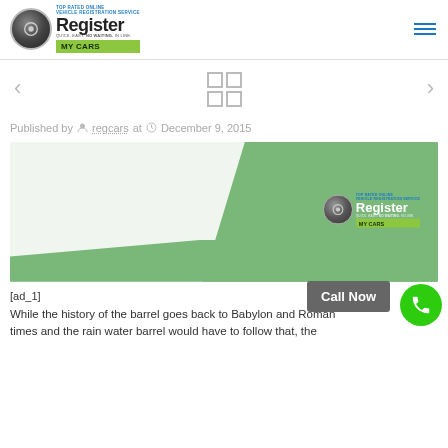[Figure (logo): Register My Cars logo with circular icon, 'TOP RATED ONLINE VEHICLE REGISTRATION SERVICE' text, and green 'MY CARS' badge]
[Figure (other): Navigation area with left/right arrows and a 2x2 grid icon in the center]
Published by regcars at December 9, 2015
[Figure (photo): Register My Cars logo displayed on a green geometric background with white walls forming a 3D corner perspective]
[ad_1]
While the history of the barrel goes back to Babylon and Roman times and the rain water barrel would have to follow that, the